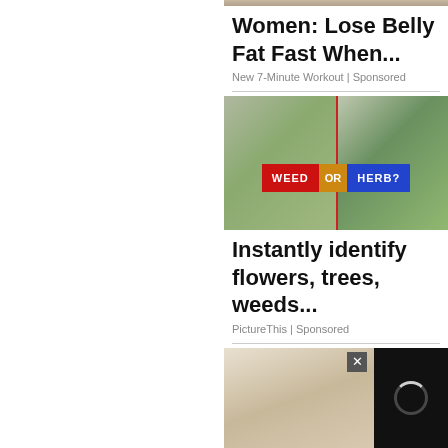[Figure (photo): Partial top image strip visible at top of right column]
Women: Lose Belly Fat Fast When...
New 7-Minute Workout | Sponsored
[Figure (photo): Split image showing plant labeled WEED OR HERB? with red and blue banner]
Instantly identify flowers, trees, weeds...
PictureThis | Sponsored
[Figure (photo): Illustration of a dog with a black video overlay panel with close button and spinner]